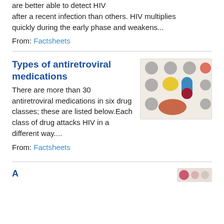are better able to detect HIV after a recent infection than others. HIV multiplies quickly during the early phase and weakens...
From: Factsheets
Types of antiretroviral medications
There are more than 30 antiretroviral medications in six drug classes; these are listed below.Each class of drug attacks HIV in a different way....
From: Factsheets
[Figure (illustration): Illustration of various colorful pills and capsules including gray, yellow, coral/red, blue and red capsule, and an orange oval pill on a light beige background]
Antiretroviral medications (partial, cut off)